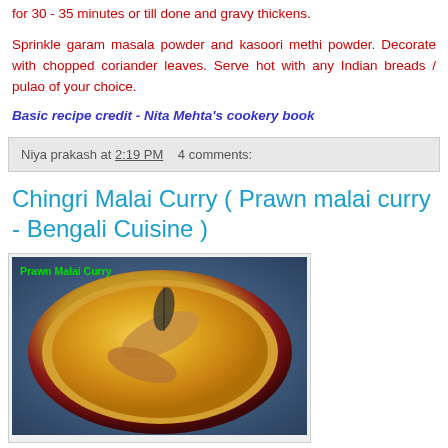for 30 - 35 minutes or till done and gravy thickens.
Sprinkle garam masala powder and kasoori methi powder. Decorate with chopped coriander leaves. Serve hot with any Indian breads / pulao of your choice.
Basic recipe credit - Nita Mehta’s cookery book
Niya prakash at 2:19 PM   4 comments:
Chingri Malai Curry ( Prawn malai curry - Bengali Cuisine )
[Figure (photo): A bowl of Prawn Malai Curry (yellow/golden curry with prawns) on a decorative plate with red rim, labeled 'Prawn Malai Curry' in green text]